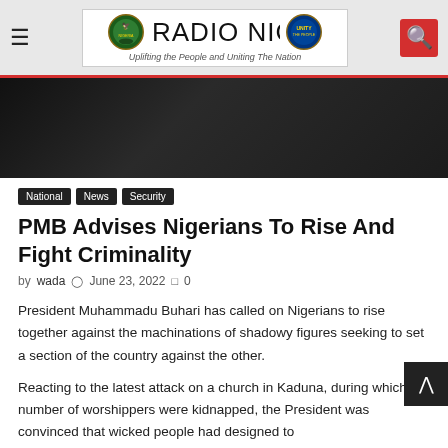Radio Nigeria — Uplifting the People and Uniting The Nation
[Figure (photo): Close-up photo of a person wearing dark clothing, cropped at chest/torso level]
National  News  Security
PMB Advises Nigerians To Rise And Fight Criminality
by wada  June 23, 2022  0
President Muhammadu Buhari has called on Nigerians to rise together against the machinations of shadowy figures seeking to set a section of the country against the other.
Reacting to the latest attack on a church in Kaduna, during which a number of worshippers were kidnapped, the President was convinced that wicked people had designed to